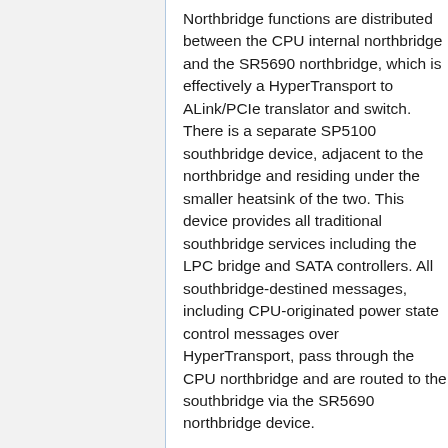Northbridge functions are distributed between the CPU internal northbridge and the SR5690 northbridge, which is effectively a HyperTransport to ALink/PCIe translator and switch. There is a separate SP5100 southbridge device, adjacent to the northbridge and residing under the smaller heatsink of the two. This device provides all traditional southbridge services including the LPC bridge and SATA controllers. All southbridge-destined messages, including CPU-originated power state control messages over HyperTransport, pass through the CPU northbridge and are routed to the southbridge via the SR5690 northbridge device.
Incidentally, this design places the IOMMU, which is part of the SR5690, in the same location to one where which the